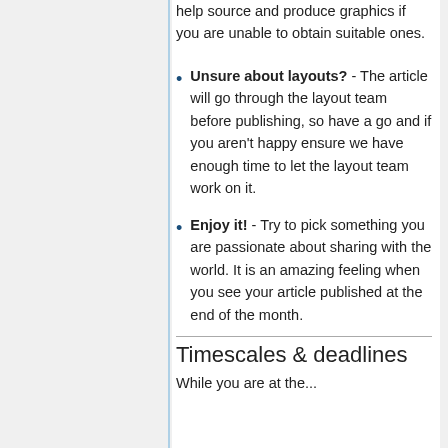help source and produce graphics if you are unable to obtain suitable ones.
Unsure about layouts? - The article will go through the layout team before publishing, so have a go and if you aren't happy ensure we have enough time to let the layout team work on it.
Enjoy it! - Try to pick something you are passionate about sharing with the world. It is an amazing feeling when you see your article published at the end of the month.
Timescales & deadlines
While you are at the...